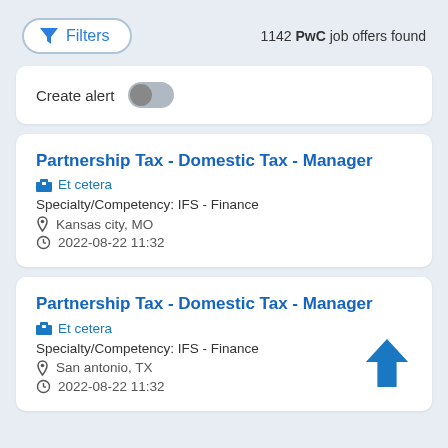Filters
1142 PwC job offers found
Create alert
Partnership Tax - Domestic Tax - Manager
Et cetera
Specialty/Competency: IFS - Finance
Kansas city, MO
2022-08-22 11:32
Partnership Tax - Domestic Tax - Manager
Et cetera
Specialty/Competency: IFS - Finance
San antonio, TX
2022-08-22 11:32